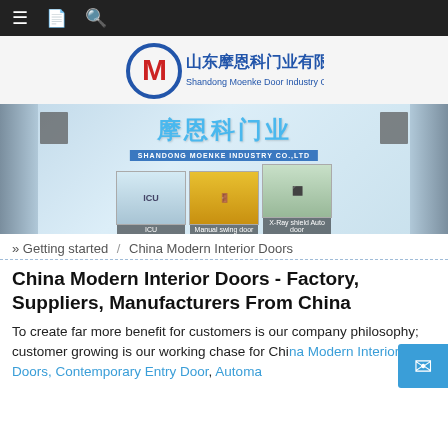Navigation bar with menu, bookmark and search icons
[Figure (logo): Shandong Moenke Door Industry Co.,Ltd. logo with blue circle M emblem and Chinese/English company name]
[Figure (photo): Banner image showing hospital corridor doors with Chinese text 摩恩科门业, SHANDONG MOENKE INDUSTRY CO.,LTD label, and three product thumbnails: ICU, Manual swing door, X-Ray shield Auto door]
» Getting started / China Modern Interior Doors
China Modern Interior Doors - Factory, Suppliers, Manufacturers From China
To create far more benefit for customers is our company philosophy; customer growing is our working chase for China Modern Interior Doors, Contemporary Entry Door, Automa...